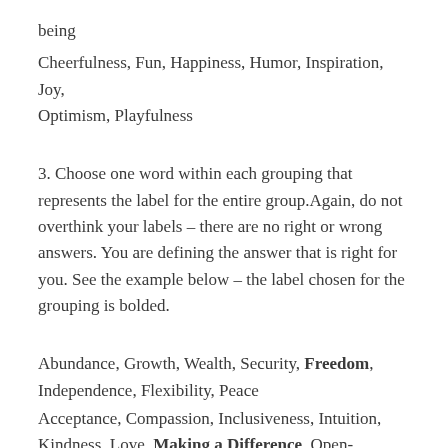being
Cheerfulness, Fun, Happiness, Humor, Inspiration, Joy, Optimism, Playfulness
3. Choose one word within each grouping that represents the label for the entire group.Again, do not overthink your labels – there are no right or wrong answers. You are defining the answer that is right for you. See the example below – the label chosen for the grouping is bolded.
Abundance, Growth, Wealth, Security, Freedom, Independence, Flexibility, Peace
Acceptance, Compassion, Inclusiveness, Intuition, Kindness, Love, Making a Difference, Open-Mindedness,